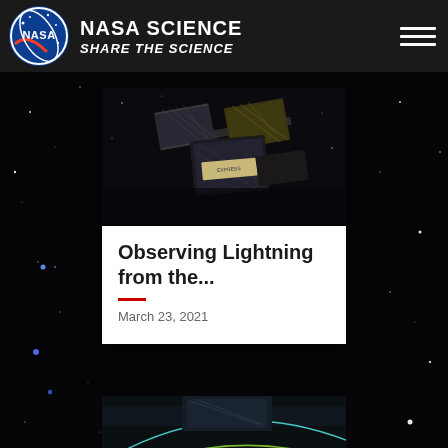NASA SCIENCE — SHARE THE SCIENCE
[Figure (photo): ISS / spacecraft hardware photographed from space against dark background with solar panels visible]
Observing Lightning from the...
March 23, 2021
[Figure (photo): Partial view of orbital trajectory lines over Earth surface, seen from space station]